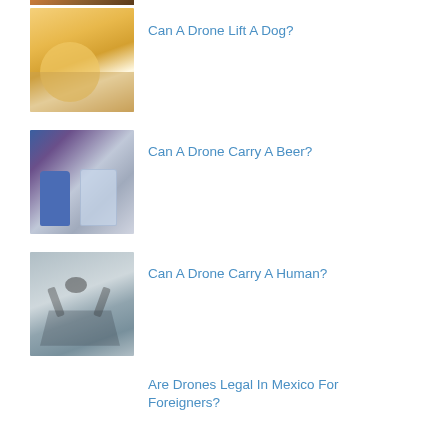[Figure (photo): Partial image at top of page, cropped]
[Figure (photo): Person holding a yellow Labrador puppy]
Can A Drone Lift A Dog?
[Figure (photo): Beer can and glass mug on a table]
Can A Drone Carry A Beer?
[Figure (photo): Drone flying in cloudy sky near a building]
Can A Drone Carry A Human?
Are Drones Legal In Mexico For Foreigners?